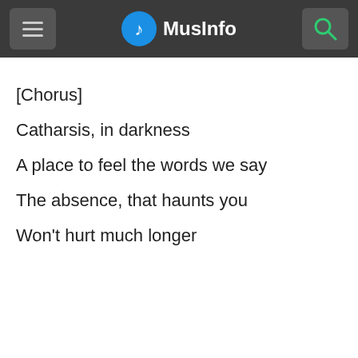MusInfo
[Chorus]
Catharsis, in darkness
A place to feel the words we say
The absence, that haunts you
Won't hurt much longer